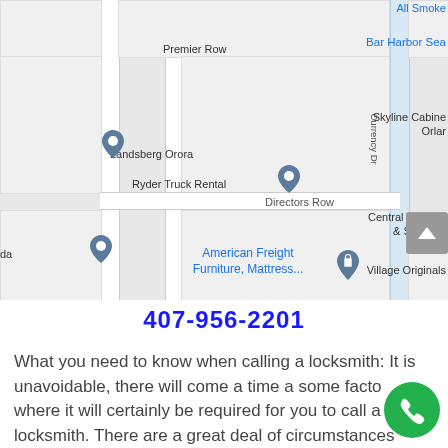[Figure (map): Google Maps screenshot showing streets including Premier Row, Directors Row, Currency Dr, and businesses: Landsberg Orora, Ryder Truck Rental, Skyline Cabinets Orlando, Central Moving & Storage, American Freight Furniture Mattress, Village Originals, Bar Harbor Sea, All Smoke]
407-956-2201
What you need to know when calling a locksmith: It is unavoidable, there will come a time a some factor where it will certainly be required for you to call a locksmith. There are a great deal of circumstances